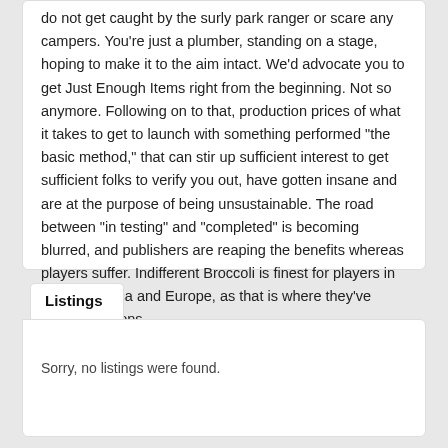do not get caught by the surly park ranger or scare any campers. You're just a plumber, standing on a stage, hoping to make it to the aim intact. We'd advocate you to get Just Enough Items right from the beginning. Not so anymore. Following on to that, production prices of what it takes to get to launch with something performed "the basic method," that can stir up sufficient interest to get sufficient folks to verify you out, have gotten insane and are at the purpose of being unsustainable. The road between "in testing" and "completed" is becoming blurred, and publishers are reaping the benefits whereas players suffer. Indifferent Broccoli is finest for players in North America and Europe, as that is where they've server locations.
Listings
Sorry, no listings were found.